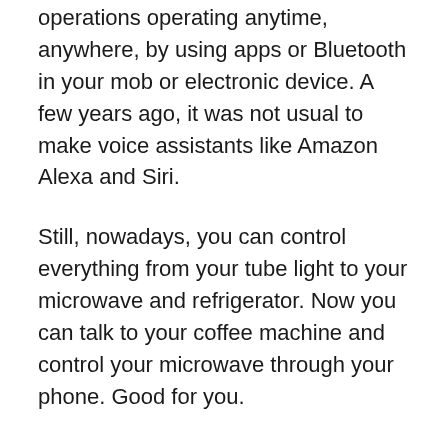operations operating anytime, anywhere, by using apps or Bluetooth in your mob or electronic device. A few years ago, it was not usual to make voice assistants like Amazon Alexa and Siri.
Still, nowadays, you can control everything from your tube light to your microwave and refrigerator. Now you can talk to your coffee machine and control your microwave through your phone. Good for you.
A couple of years back, how many of us used to forget to close the refrigerator door and realized ice cream got molten and milk became stale meanwhile? But today, these smart kitchen appliances solve these problems within a blank of eyes by reminding you to close it at any time anywhere.
Smart kitchen appliances have multifunctional systems and have various features to save money and time and make